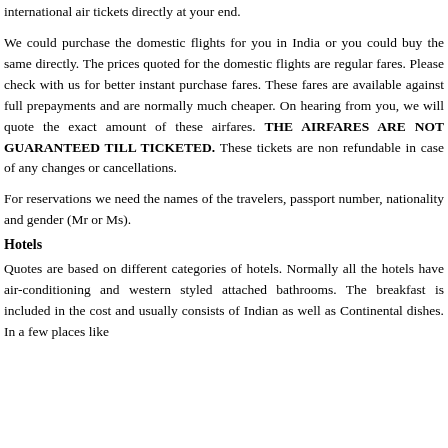international air tickets directly at your end.
We could purchase the domestic flights for you in India or you could buy the same directly. The prices quoted for the domestic flights are regular fares. Please check with us for better instant purchase fares. These fares are available against full prepayments and are normally much cheaper. On hearing from you, we will quote the exact amount of these airfares. THE AIRFARES ARE NOT GUARANTEED TILL TICKETED. These tickets are non refundable in case of any changes or cancellations.
For reservations we need the names of the travelers, passport number, nationality and gender (Mr or Ms).
Hotels
Quotes are based on different categories of hotels. Normally all the hotels have air-conditioning and western styled attached bathrooms. The breakfast is included in the cost and usually consists of Indian as well as Continental dishes. In a few places like